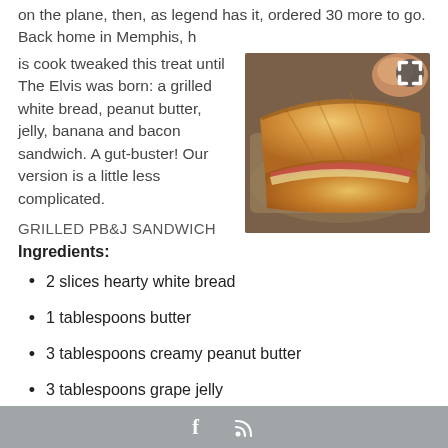on the plane, then, as legend has it, ordered 30 more to go. Back home in Memphis, h
is cook tweaked this treat until The Elvis was born: a grilled white bread, peanut butter, jelly, banana and bacon sandwich. A gut-buster! Our version is a little less complicated.
[Figure (photo): Photo of a grilled peanut butter and jelly sandwich on a wooden cutting board, showing golden-brown toasted bread with filling visible at the edges.]
GRILLED PB&J SANDWICH
Ingredients:
2 slices hearty white bread
1 tablespoons butter
3 tablespoons creamy peanut butter
3 tablespoons grape jelly
Instructions